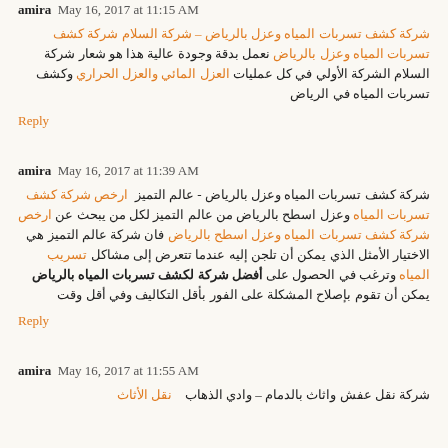amira  May 16, 2017 at 11:15 AM (partial, top of page)
شركة كشف تسربات المياه وعزل بالرياض – شركة السلام  شركة كشف تسربات المياه وعزل بالرياض نعمل بدقة وجودة عالية هذا هو شعار شركة السلام الشركة الأولي في كل عمليات العزل المائي والعزل الحراري وكشف تسربات المياه في الرياض
Reply
amira  May 16, 2017 at 11:39 AM
شركة كشف تسربات المياه وعزل بالرياض - عالم التميز  ارخص شركة كشف تسربات المياه وعزل اسطح بالرياض من عالم التميز لكل من يبحث عن ارخص شركة كشف تسربات المياه وعزل اسطح بالرياض فان شركة عالم التميز هي الاختيار الأمثل الذي يمكن أن تلجن إليه عندما تتعرض إلى مشاكل تسريب المياه وترغب في الحصول على أفضل شركة لكشف تسربات المياه بالرياض يمكن أن تقوم بإصلاح المشكلة على الفور بأقل التكاليف وفي أقل وقت
Reply
amira  May 16, 2017 at 11:55 AM
شركة نقل عفش واثاث بالدمام – وادي الذهاب   نقل الأثاث (partial, bottom of page)